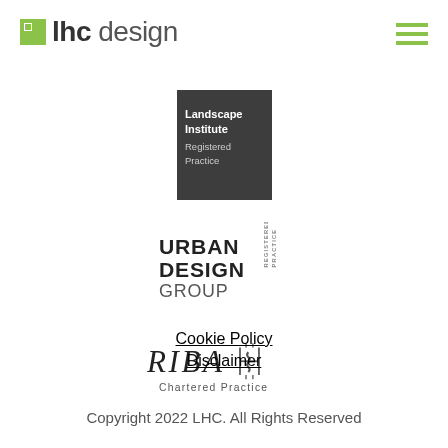[Figure (logo): LHC Design logo with olive/green square icon and 'lhc design' wordmark in grey]
[Figure (logo): Hamburger menu icon made of three olive/lime green horizontal bars]
[Figure (logo): Landscape Institute Registered Practice badge - dark square with white text]
[Figure (logo): Urban Design Group Registered Practice badge - black and white logo]
[Figure (logo): RIBA Chartered Practice logo in serif font with decorative mark]
Cookie Policy
Disclaimer
Copyright 2022 LHC. All Rights Reserved